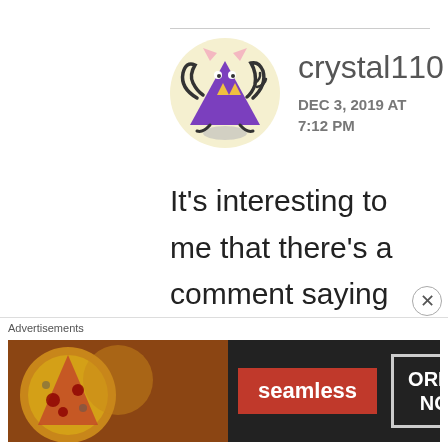[Figure (illustration): Purple cartoon monster avatar with multiple arms, sitting cross-legged, with pointed ears and triangles on its chest, on a cream circular background]
crystal110
DEC 3, 2019 AT
7:12 PM
It's interesting to me that there's a comment saying everyone is entitled to their opinions & to share experiences then so are the others who share they had great experiences with The
Advertisements
[Figure (screenshot): Seamless food delivery advertisement banner showing pizza image, seamless logo, and ORDER NOW button]